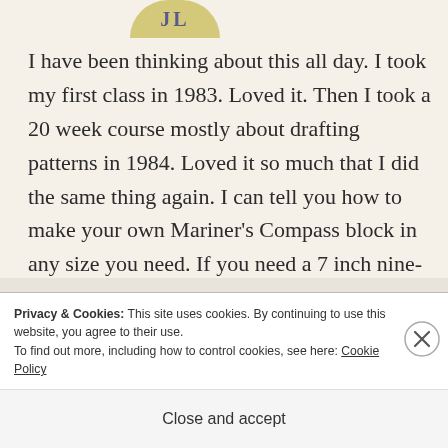[Figure (illustration): Partial circular avatar badge with initials JL in purple/blue color on yellow-green background]
I have been thinking about this all day. I took my first class in 1983. Loved it. Then I took a 20 week course mostly about drafting patterns in 1984. Loved it so much that I did the same thing again. I can tell you how to make your own Mariner's Compass block in any size you need. If you need a 7 inch nine-patch block I'm your girl. I am not afraid of templates. Oh no, not me. I blame some of the dumbing down on the pre-cuts. I do
Privacy & Cookies: This site uses cookies. By continuing to use this website, you agree to their use.
To find out more, including how to control cookies, see here: Cookie Policy
Close and accept